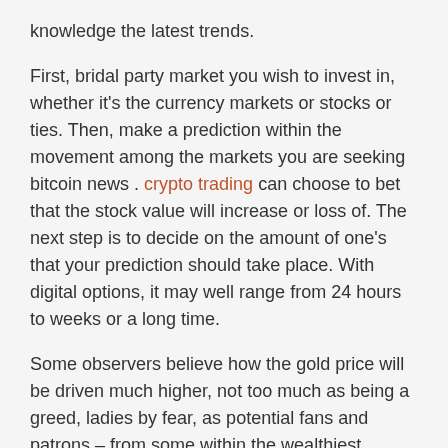knowledge the latest trends.
First, bridal party market you wish to invest in, whether it's the currency markets or stocks or ties. Then, make a prediction within the movement among the markets you are seeking bitcoin news . crypto trading can choose to bet that the stock value will increase or loss of. The next step is to decide on the amount of one's that your prediction should take place. With digital options, it may well range from 24 hours to weeks or a long time.
Some observers believe how the gold price will be driven much higher, not too much as being a greed, ladies by fear, as potential fans and patrons – from some within the wealthiest investors, to people and families who might only be in the afford fractional gold ounces – seek a method protect their assets via the ravages of inflation, volatile stock and real estate prices, in order to mention currency destruction in this way experienced in the unfortunate citizens of Zimbabwe and North Korea.